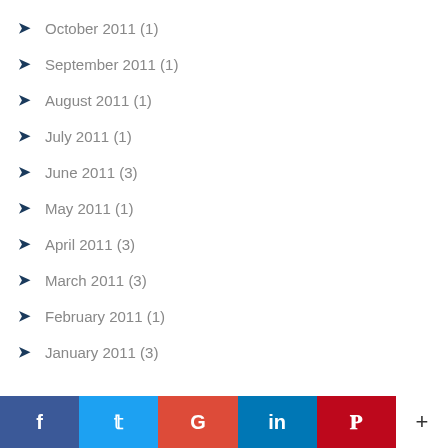October 2011 (1)
September 2011 (1)
August 2011 (1)
July 2011 (1)
June 2011 (3)
May 2011 (1)
April 2011 (3)
March 2011 (3)
February 2011 (1)
January 2011 (3)
f  t  G  in  P  +